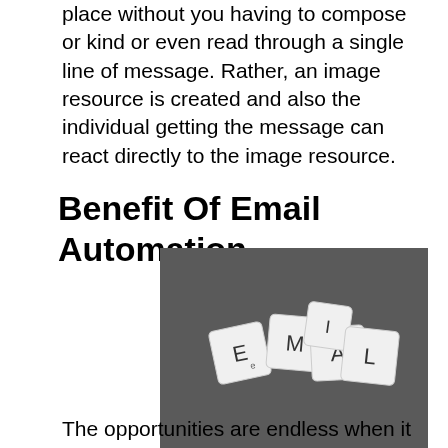place without you having to compose or kind or even read through a single line of message. Rather, an image resource is created and also the individual getting the message can react directly to the image resource.
Benefit Of Email Automation
[Figure (photo): Photo of Scrabble letter tiles spelling EMAIL on a dark grey background]
The opportunities are endless when it